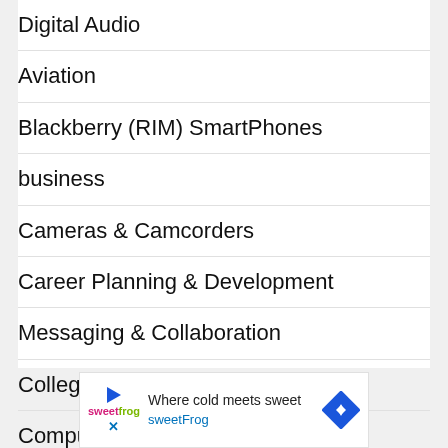Digital Audio
Aviation
Blackberry (RIM) SmartPhones
business
Cameras & Camcorders
Career Planning & Development
Messaging & Collaboration
College
Computing
[Figure (other): Advertisement banner for sweetFrog featuring 'Where cold meets sweet' text with a blue diamond arrow icon and sweetFrog logo]